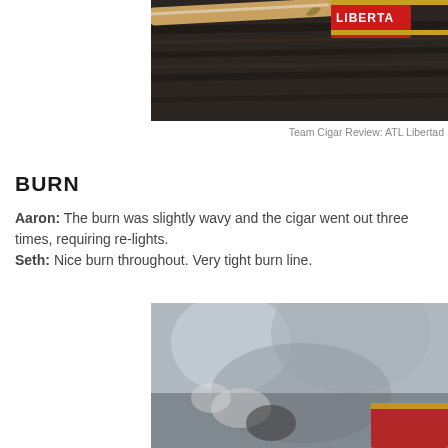[Figure (photo): Close-up photo of a cigar resting on a dark wooden surface, with a red band partially visible labeled LIBERTAD]
Team Cigar Review: ATL Libertad
BURN
Aaron: The burn was slightly wavy and the cigar went out three times, requiring re-lights.
Seth: Nice burn throughout. Very tight burn line.
[Figure (photo): Close-up blurry photo of a lit cigar with a red band, smoke or ash visible]